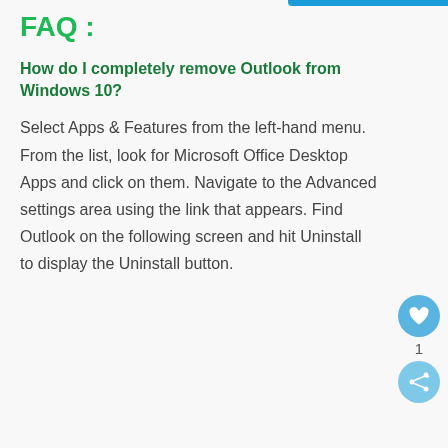FAQ :
How do I completely remove Outlook from Windows 10?
Select Apps & Features from the left-hand menu. From the list, look for Microsoft Office Desktop Apps and click on them. Navigate to the Advanced settings area using the link that appears. Find Outlook on the following screen and hit Uninstall to display the Uninstall button.